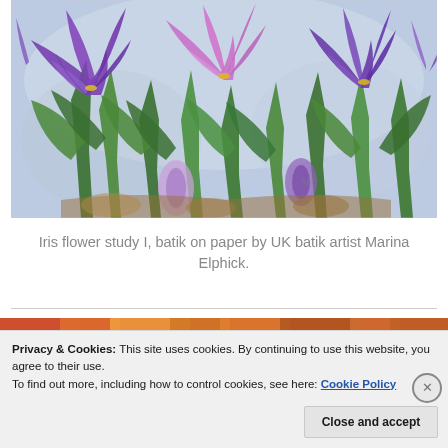[Figure (illustration): Painting of iris flowers in purple, pink and violet hues with green stems and leaves, batik on paper artwork by Marina Elphick]
Iris flower study I, batik on paper by UK batik artist Marina Elphick.
[Figure (photo): Partial strip of another artwork/painting visible below the divider line]
Privacy & Cookies: This site uses cookies. By continuing to use this website, you agree to their use.
To find out more, including how to control cookies, see here: Cookie Policy
Close and accept